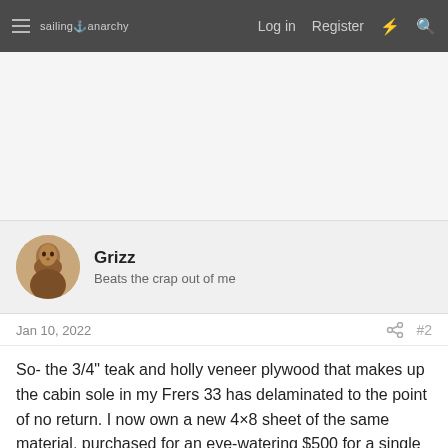sailing anarchy — Log in   Register
[Figure (other): Advertisement / blank whitespace area]
Grizz
Beats the crap out of me
Jan 10, 2022  #2
So- the 3/4" teak and holly veneer plywood that makes up the cabin sole in my Frers 33 has delaminated to the point of no return. I now own a new 4×8 sheet of the same material, purchased for an eye-watering $500 for a single sheet! I will certainly endeavor to measure a bunch of times and cut